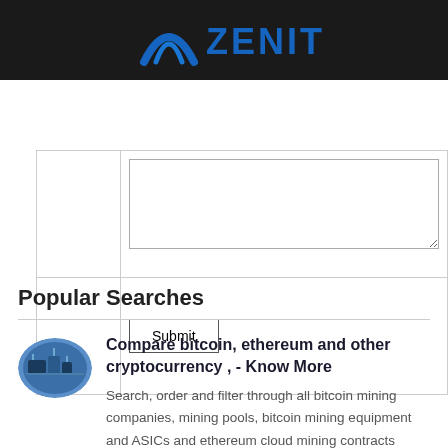[Figure (logo): Zenit logo with blue arch symbol and ZENIT text in blue on dark background]
[Figure (screenshot): Web form with textarea and Submit button]
Popular Searches
[Figure (photo): Oval thumbnail image of bitcoin/mining machinery]
Compare bitcoin, ethereum and other cryptocurrency , - Know More
Search, order and filter through all bitcoin mining companies, mining pools, bitcoin mining equipment and ASICs and ethereum cloud mining contracts Prices are updated every ten minutes so it is easy to